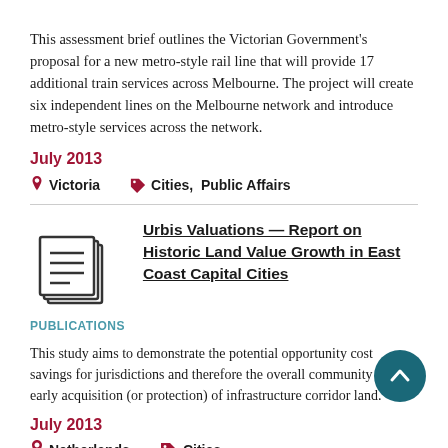This assessment brief outlines the Victorian Government's proposal for a new metro-style rail line that will provide 17 additional train services across Melbourne. The project will create six independent lines on the Melbourne network and introduce metro-style services across the network.
July 2013
Victoria   Cities, Public Affairs
[Figure (illustration): Document/pages icon representing a publication]
Urbis Valuations — Report on Historic Land Value Growth in East Coast Capital Cities
PUBLICATIONS
This study aims to demonstrate the potential opportunity cost savings for jurisdictions and therefore the overall community in the early acquisition (or protection) of infrastructure corridor land.
July 2013
Netherlands   Cities